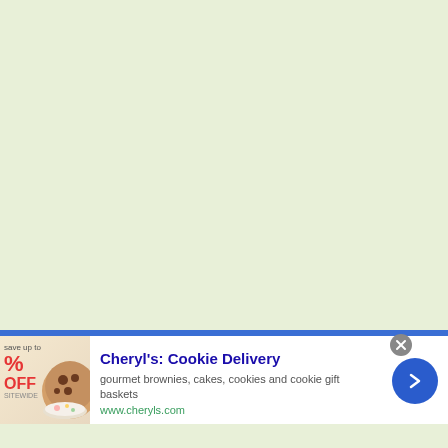[Figure (illustration): Light green/cream background area occupying the upper portion of the page]
[Figure (infographic): Advertisement banner for Cheryl's Cookie Delivery. Contains a product image on the left showing baked goods with a sale badge showing percentage off, headline text 'Cheryl's: Cookie Delivery', description text 'gourmet brownies, cakes, cookies and cookie gift baskets', URL 'www.cheryls.com', a blue circular arrow button on the right, and a close (X) button in the upper corner.]